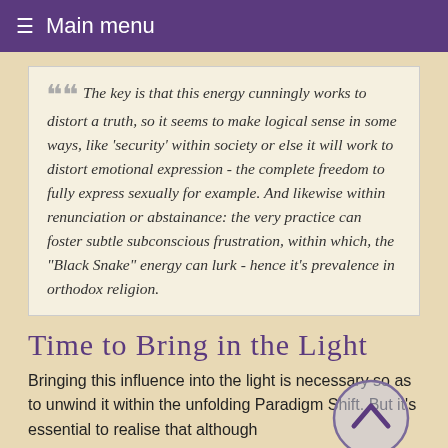≡ Main menu
The key is that this energy cunningly works to distort a truth, so it seems to make logical sense in some ways, like 'security' within society or else it will work to distort emotional expression - the complete freedom to fully express sexually for example. And likewise within renunciation or abstainance: the very practice can foster subtle subconscious frustration, within which, the "Black Snake" energy can lurk - hence it's prevalence in orthodox religion.
Time to Bring in the Light
Bringing this influence into the light is necessary so as to unwind it within the unfolding Paradigm Shift. But it's essential to realise that although